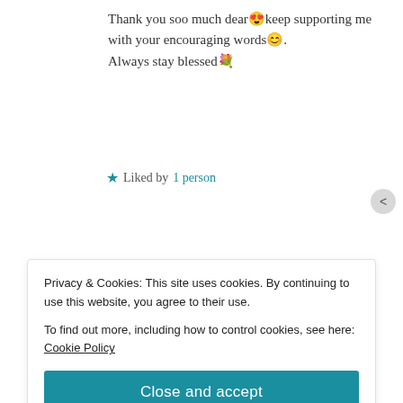Thank you soo much dear 😍 keep supporting me with your encouraging words 😊. Always stay blessed 💐
★ Liked by 1 person
Reply
🌴🌺🇹🇹🌙Tammy7711🌴🌺 🇹🇹🌙
October 18, 2018 at 11:56 am
Privacy & Cookies: This site uses cookies. By continuing to use this website, you agree to their use.
To find out more, including how to control cookies, see here: Cookie Policy
Close and accept